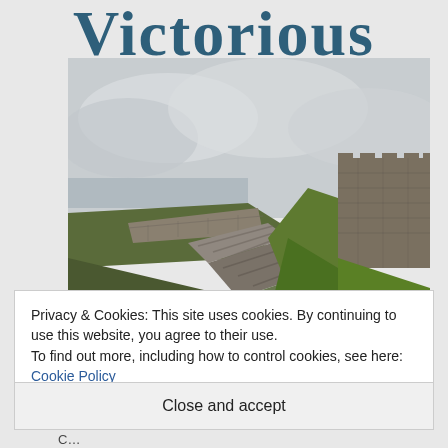Victorious
[Figure (photo): Stone pathway with steps leading up a hillside beside a stone wall, with green grass and an overcast sky in the background. A stone building or fortification is visible in the upper right.]
Privacy & Cookies: This site uses cookies. By continuing to use this website, you agree to their use.
To find out more, including how to control cookies, see here: Cookie Policy
Close and accept
C...